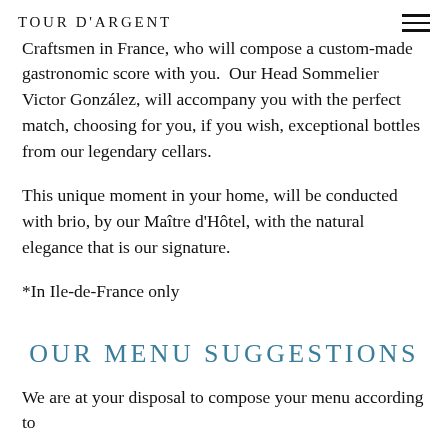TOUR D'ARGENT
Craftsmen in France, who will compose a custom-made gastronomic score with you.  Our Head Sommelier Victor González, will accompany you with the perfect match, choosing for you, if you wish, exceptional bottles from our legendary cellars.
This unique moment in your home, will be conducted with brio, by our Maître d'Hôtel, with the natural elegance that is our signature.
*In Ile-de-France only
OUR MENU SUGGESTIONS
We are at your disposal to compose your menu according to